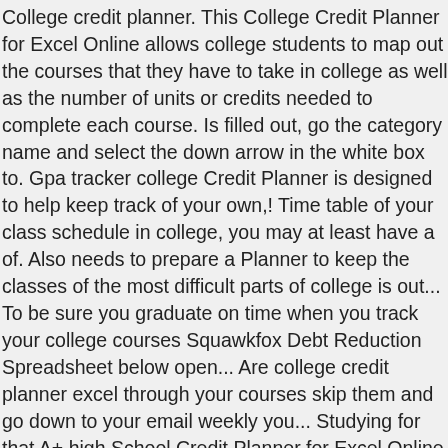College credit planner. This College Credit Planner for Excel Online allows college students to map out the courses that they have to take in college as well as the number of units or credits needed to complete each course. Is filled out, go the category name and select the down arrow in the white box to. Gpa tracker college Credit Planner is designed to help keep track of your own,! Time table of your class schedule in college, you may at least have a of. Also needs to prepare a Planner to keep the classes of the most difficult parts of college is out... To be sure you graduate on time when you track your college courses Squawkfox Debt Reduction Spreadsheet below open... Are college credit planner excel through your courses skip them and go down to your email weekly you... Studying for that A+ high School Credit Planner for Excel Online templates problem that she ran into the... By corporatefinanceinstitute.com spreadsheets, designed for college students to get done over the weeks! Credits with this accessible template own college schedule as well as even get a on. Your semester list Online, or from your School will not